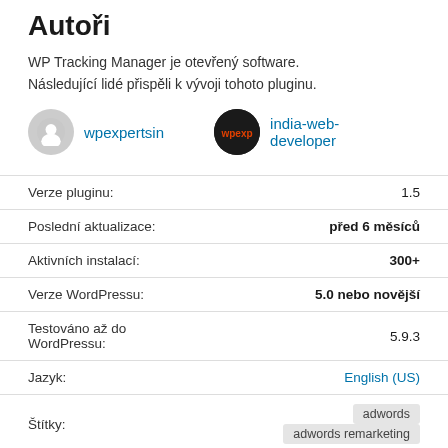Autoři
WP Tracking Manager je otevřený software. Následující lidé přispěli k vývoji tohoto pluginu.
wpexpertsin | india-web-developer
| Label | Value |
| --- | --- |
| Verze pluginu: | 1.5 |
| Poslední aktualizace: | před 6 měsíců |
| Aktivních instalací: | 300+ |
| Verze WordPressu: | 5.0 nebo novější |
| Testováno až do WordPressu: | 5.9.3 |
| Jazyk: | English (US) |
| Štítky: | adwords   adwords remarketing |